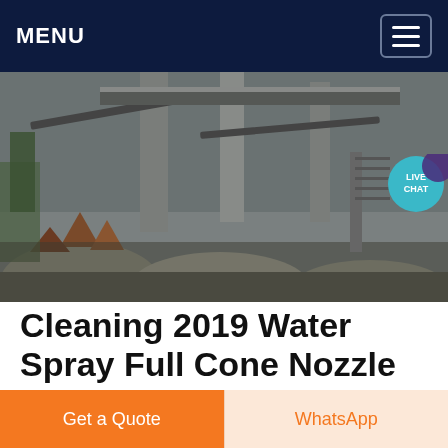MENU
[Figure (photo): Industrial mining or quarrying facility with conveyor belts, concrete pillars, and piles of grey aggregate/ore material on the ground. Heavy industrial equipment and dust visible.]
Cleaning 2019 Water Spray Full Cone Nozzle For Dust Control
Cleaning 2019 Water Spray Full Cone Nozzle For Dust Control Full Jet Standard Angle Spray Nozzles
Get price
Get a Quote
WhatsApp